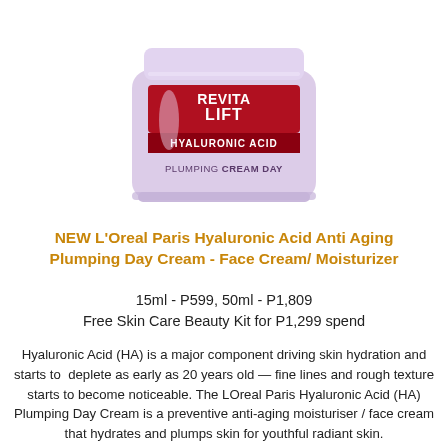[Figure (photo): L'Oreal Paris Revitalift Hyaluronic Acid Plumping Cream Day product jar, lavender/purple color with red label panel showing REVITALIFT and HYALURONIC ACID text]
NEW L'Oreal Paris Hyaluronic Acid Anti Aging Plumping Day Cream - Face Cream/ Moisturizer
15ml - P599, 50ml - P1,809
Free Skin Care Beauty Kit for P1,299 spend
Hyaluronic Acid (HA) is a major component driving skin hydration and starts to  deplete as early as 20 years old — fine lines and rough texture starts to become noticeable. The LOreal Paris Hyaluronic Acid (HA) Plumping Day Cream is a preventive anti-aging moisturiser / face cream that hydrates and plumps skin for youthful radiant skin.